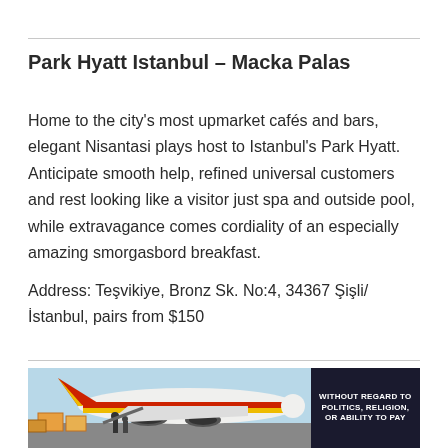Park Hyatt Istanbul – Macka Palas
Home to the city's most upmarket cafés and bars, elegant Nisantasi plays host to Istanbul's Park Hyatt. Anticipate smooth help, refined universal customers and rest looking like a visitor just spa and outside pool, while extravagance comes cordiality of an especially amazing smorgasbord breakfast.
Address: Teşvikiye, Bronz Sk. No:4, 34367 Şişli/İstanbul, pairs from $150
[Figure (photo): Advertisement banner showing cargo being loaded onto a colorful aircraft with a dark panel on the right reading 'WITHOUT REGARD TO POLITICS, RELIGION, OR ABILITY TO PAY']